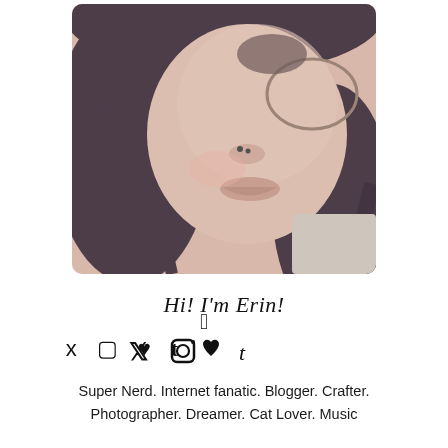[Figure (photo): Close-up selfie of a young woman with dark hair, glasses, and a nose piercing, smiling slightly. Photo has a soft, slightly desaturated tone with rounded corners.]
Hi! I'm Erin!
[Figure (other): Row of four social media icons: Twitter bird, Instagram camera, heart, Tumblr 't']
Super Nerd. Internet fanatic. Blogger. Crafter. Photographer. Dreamer. Cat Lover. Music